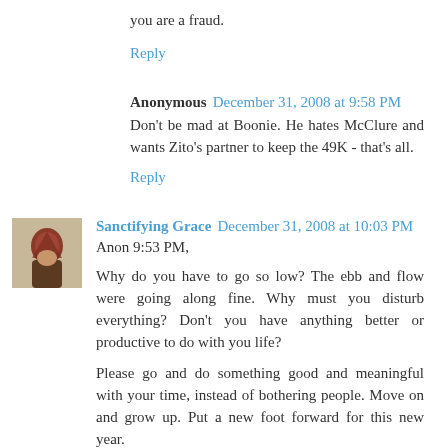you are a fraud.
Reply
Anonymous  December 31, 2008 at 9:58 PM
Don't be mad at Boonie. He hates McClure and wants Zito's partner to keep the 49K - that's all.
Reply
[Figure (photo): Avatar thumbnail of Sanctifying Grace commenter]
Sanctifying Grace  December 31, 2008 at 10:03 PM
Anon 9:53 PM,
Why do you have to go so low? The ebb and flow were going along fine. Why must you disturb everything? Don't you have anything better or productive to do with you life?
Please go and do something good and meaningful with your time, instead of bothering people. Move on and grow up. Put a new foot forward for this new year.